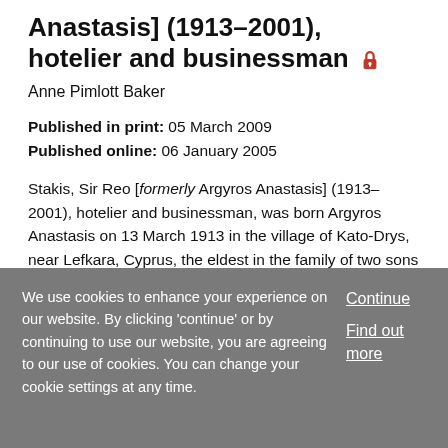Stakis, Sir Reo [formerly Argyros Anastasis] (1913–2001), hotelier and businessman
Anne Pimlott Baker
Published in print: 05 March 2009
Published online: 06 January 2005
Stakis, Sir Reo [formerly Argyros Anastasis] (1913–2001), hotelier and businessman, was born Argyros Anastasis on 13 March 1913 in the village of Kato-Drys, near Lefkara, Cyprus, the eldest in the family of two sons and four daughters of Argyros Anastasis, a peasant farmer, and his wife, ...
We use cookies to enhance your experience on our website. By clicking 'continue' or by continuing to use our website, you are agreeing to our use of cookies. You can change your cookie settings at any time.